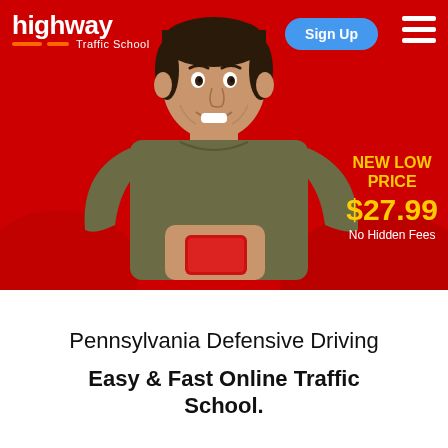[Figure (photo): Man in olive t-shirt smiling and holding a red smartphone against a red background. Highway Traffic School website screenshot with navigation header, Sign Up button, and pricing information.]
Pennsylvania Defensive Driving
Easy & Fast Online Traffic School.